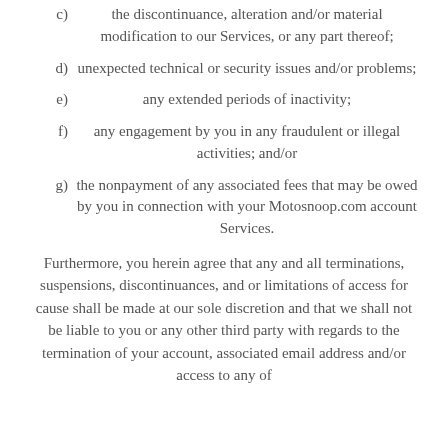c) the discontinuance, alteration and/or material modification to our Services, or any part thereof;
d) unexpected technical or security issues and/or problems;
e) any extended periods of inactivity;
f) any engagement by you in any fraudulent or illegal activities; and/or
g) the nonpayment of any associated fees that may be owed by you in connection with your Motosnoop.com account Services.
Furthermore, you herein agree that any and all terminations, suspensions, discontinuances, and or limitations of access for cause shall be made at our sole discretion and that we shall not be liable to you or any other third party with regards to the termination of your account, associated email address and/or access to any of